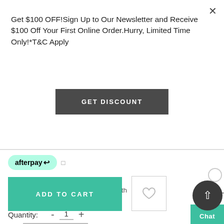Get $100 OFF!Sign Up to Our Newsletter and Receive $100 Off Your First Online Order.Hurry, Limited Time Only!*T&C Apply
GET DISCOUNT
[Figure (logo): Afterpay logo badge in mint green rounded rectangle with afterpay text and arrow icon]
or interest free for up to 6 months with Zip
Quantity: - 1 +
ADD TO CART
Chat